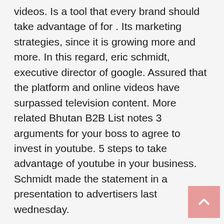videos. Is a tool that every brand should take advantage of for . Its marketing strategies, since it is growing more and more. In this regard, eric schmidt, executive director of google. Assured that the platform and online videos have surpassed television content. More related Bhutan B2B List notes 3 arguments for your boss to agree to invest in youtube. 5 steps to take advantage of youtube in your business. Schmidt made the statement in a presentation to advertisers last wednesday.
Percent More Engagement Than Other Publications